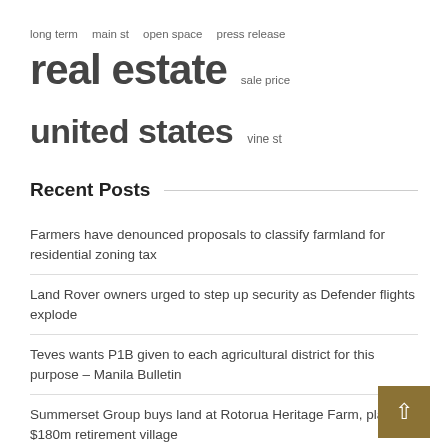long term   main st   open space   press release   real estate   sale price
united states   vine st
Recent Posts
Farmers have denounced proposals to classify farmland for residential zoning tax
Land Rover owners urged to step up security as Defender flights explode
Teves wants P1B given to each agricultural district for this purpose – Manila Bulletin
Summerset Group buys land at Rotorua Heritage Farm, plans $180m retirement village
Between land and sea: recipes More fish, More vegetables